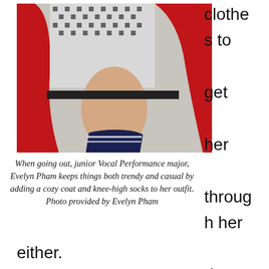[Figure (photo): A child sitting on a dark chair wearing a red cardigan coat over a black and white houndstooth dress, with knee-high navy blue and white striped socks.]
When going out, junior Vocal Performance major, Evelyn Pham keeps things both trendy and casual by adding a cozy coat and knee-high socks to her outfit. Photo provided by Evelyn Pham
clothes to get her through her day, so her shopping habits aren't the same either.